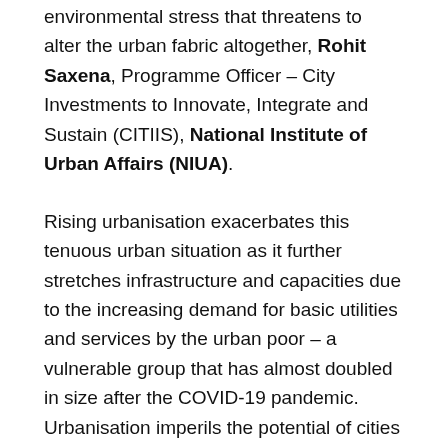environmental stress that threatens to alter the urban fabric altogether, Rohit Saxena, Programme Officer – City Investments to Innovate, Integrate and Sustain (CITIIS), National Institute of Urban Affairs (NIUA).
Rising urbanisation exacerbates this tenuous urban situation as it further stretches infrastructure and capacities due to the increasing demand for basic utilities and services by the urban poor – a vulnerable group that has almost doubled in size after the COVID-19 pandemic. Urbanisation imperils the potential of cities to contribute to economic growth as they become hotbeds for rising inequality, especially in metropolitan Indian cities where economic activity is propped up by an ostensibly invisible supply of capital, resources and services from the urban poor. Despite little access to economic agency, civil liberties and environmental protections, they continue to prioritise wages over the promise of dignity and quality of life. Economists highlight